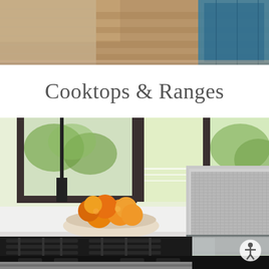[Figure (photo): Top portion of a room photo showing hardwood floors and a teal/blue cabinet or furniture piece in the background]
Cooktops & Ranges
[Figure (photo): Kitchen scene showing a gas cooktop with black grates in the foreground, a stainless steel downdraft ventilation unit in the center, a bowl of oranges on a white marble surface, and large windows showing green trees outside]